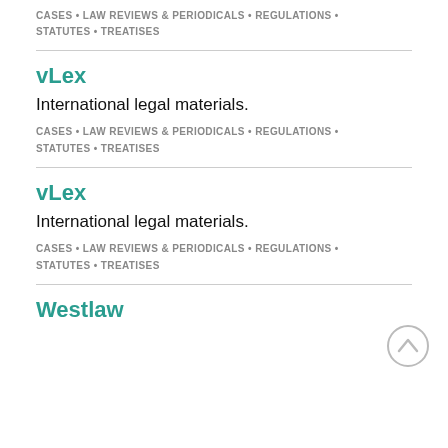CASES • LAW REVIEWS & PERIODICALS • REGULATIONS • STATUTES • TREATISES
vLex
International legal materials.
CASES • LAW REVIEWS & PERIODICALS • REGULATIONS • STATUTES • TREATISES
vLex
International legal materials.
CASES • LAW REVIEWS & PERIODICALS • REGULATIONS • STATUTES • TREATISES
Westlaw